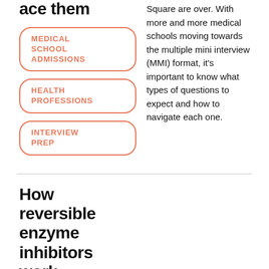ace them
MEDICAL SCHOOL ADMISSIONS
HEALTH PROFESSIONS
INTERVIEW PREP
Square are over. With more and more medical schools moving towards the multiple mini interview (MMI) format, it's important to know what types of questions to expect and how to navigate each one.
How reversible enzyme inhibitors work
BIOLOGY